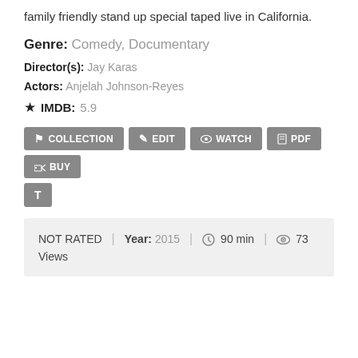family friendly stand up special taped live in California.
Genre: Comedy, Documentary
Director(s): Jay Karas
Actors: Anjelah Johnson-Reyes
IMDB: 5.9
[Figure (other): Action buttons: COLLECTION, EDIT, WATCH, PDF, BUY, and a T (text) button]
NOT RATED | Year: 2015 | 90 min | 73 Views